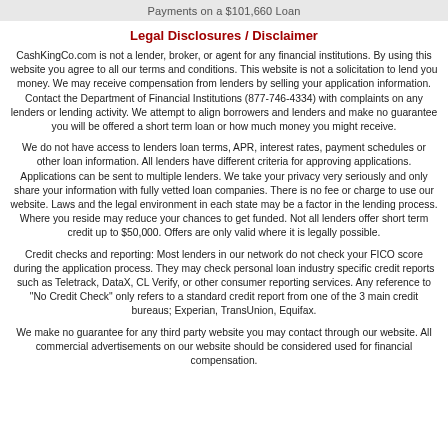Payments on a $101,660 Loan
Legal Disclosures / Disclaimer
CashKingCo.com is not a lender, broker, or agent for any financial institutions. By using this website you agree to all our terms and conditions. This website is not a solicitation to lend you money. We may receive compensation from lenders by selling your application information. Contact the Department of Financial Institutions (877-746-4334) with complaints on any lenders or lending activity. We attempt to align borrowers and lenders and make no guarantee you will be offered a short term loan or how much money you might receive.
We do not have access to lenders loan terms, APR, interest rates, payment schedules or other loan information. All lenders have different criteria for approving applications. Applications can be sent to multiple lenders. We take your privacy very seriously and only share your information with fully vetted loan companies. There is no fee or charge to use our website. Laws and the legal environment in each state may be a factor in the lending process. Where you reside may reduce your chances to get funded. Not all lenders offer short term credit up to $50,000. Offers are only valid where it is legally possible.
Credit checks and reporting: Most lenders in our network do not check your FICO score during the application process. They may check personal loan industry specific credit reports such as Teletrack, DataX, CL Verify, or other consumer reporting services. Any reference to "No Credit Check" only refers to a standard credit report from one of the 3 main credit bureaus; Experian, TransUnion, Equifax.
We make no guarantee for any third party website you may contact through our website. All commercial advertisements on our website should be considered used for financial compensation.